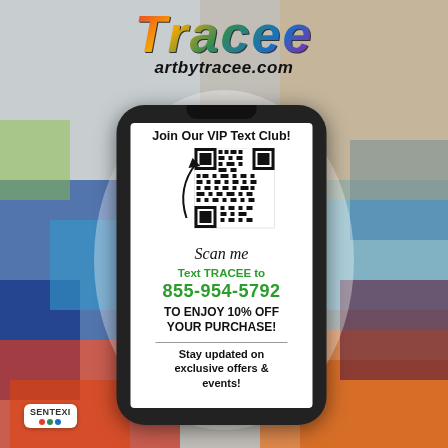[Figure (illustration): Colorful abstract art background with blues, reds, oranges, greens]
Tracee artbytracee.com
[Figure (infographic): Smartphone mockup with QR code inside showing VIP text club promotion]
Join Our VIP Text Club!
Scan me
Text TRACEE to 855-954-5792
TO ENJOY 10% OFF YOUR PURCHASE!
Stay updated on exclusive offers & events!
[Figure (logo): SENTEXI logo with colored dots]